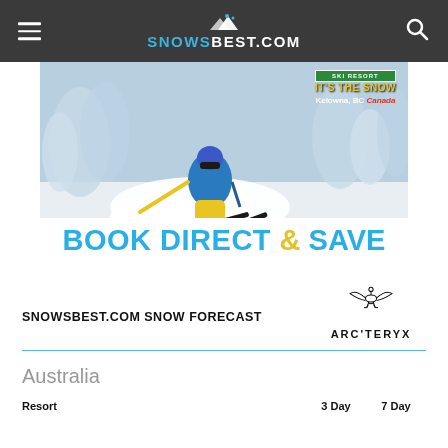SNOWSBEST.COM
[Figure (photo): Advertisement for a ski resort in Kelowna, BC Canada showing a skier in powder snow with text 'BOOK DIRECT & SAVE']
SNOWSBEST.COM SNOW FORECAST
[Figure (logo): ARC'TERYX logo with bird/skeleton figure above the text ARC'TERYX]
Australia
| Resort | 3 Day | 7 Day |
| --- | --- | --- |